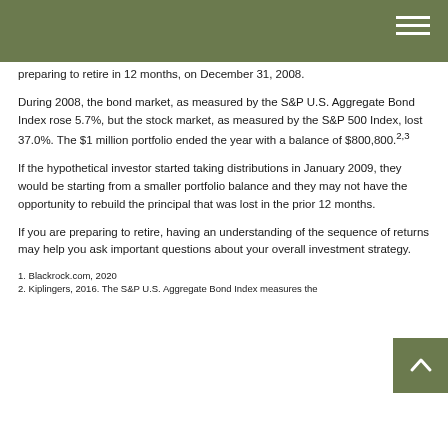preparing to retire in 12 months, on December 31, 2008.
During 2008, the bond market, as measured by the S&P U.S. Aggregate Bond Index rose 5.7%, but the stock market, as measured by the S&P 500 Index, lost 37.0%. The $1 million portfolio ended the year with a balance of $800,800.2,3
If the hypothetical investor started taking distributions in January 2009, they would be starting from a smaller portfolio balance and they may not have the opportunity to rebuild the principal that was lost in the prior 12 months.
If you are preparing to retire, having an understanding of the sequence of returns may help you ask important questions about your overall investment strategy.
1. Blackrock.com, 2020
2. Kiplingers, 2016. The S&P U.S. Aggregate Bond Index measures the...